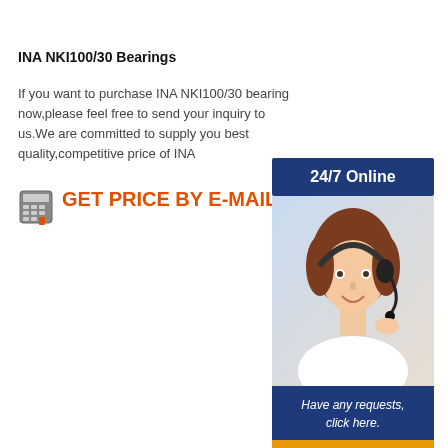INA NKI100/30 Bearings
If you want to purchase INA NKI100/30 bearing now,please feel free to send your inquiry to us.We are committed to supply you best quality,competitive price of INA
GET PRICE BY E-MAIL
[Figure (infographic): Customer service panel with 24/7 Online header, photo of female agent with headset, 'Have any requests, click here.' text, and Quotation button]